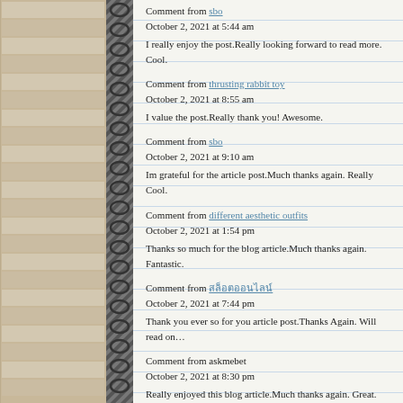Comment from sbo
October 2, 2021 at 5:44 am

I really enjoy the post.Really looking forward to read more. Cool.
Comment from thrusting rabbit toy
October 2, 2021 at 8:55 am

I value the post.Really thank you! Awesome.
Comment from sbo
October 2, 2021 at 9:10 am

Im grateful for the article post.Much thanks again. Really Cool.
Comment from different aesthetic outfits
October 2, 2021 at 1:54 pm

Thanks so much for the blog article.Much thanks again. Fantastic.
Comment from สล็อตออนไลน์
October 2, 2021 at 7:44 pm

Thank you ever so for you article post.Thanks Again. Will read on…
Comment from askmebet
October 2, 2021 at 8:30 pm

Really enjoyed this blog article.Much thanks again. Great.